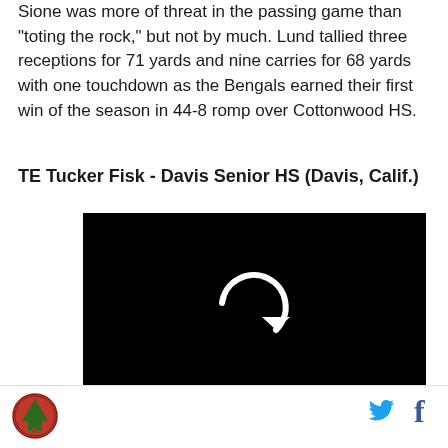Sione was more of threat in the passing game than "toting the rock," but not by much. Lund tallied three receptions for 71 yards and nine carries for 68 yards with one touchdown as the Bengals earned their first win of the season in 44-8 romp over Cottonwood HS.
TE Tucker Fisk - Davis Senior HS (Davis, Calif.)
[Figure (other): Black video player with a circular replay/refresh icon in the center (white arrow forming a circle), with a white control bar area at the bottom]
Logo icon on the left; Twitter and Facebook social icons on the right